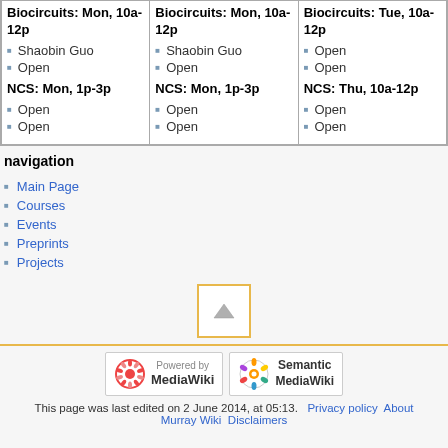| Column 1 | Column 2 | Column 3 |
| --- | --- | --- |
| Biocircuits: Mon, 10a-12p
• Shaobin Guo
• Open
NCS: Mon, 1p-3p
• Open
• Open | Biocircuits: Mon, 10a-12p
• Shaobin Guo
• Open
NCS: Mon, 1p-3p
• Open
• Open | Biocircuits: Tue, 10a-12p
• Open
• Open
NCS: Thu, 10a-12p
• Open
• Open |
navigation
Main Page
Courses
Events
Preprints
Projects
[Figure (other): Scroll to top button with upward triangle arrow, yellow/gold border]
Powered by MediaWiki | Semantic MediaWiki
This page was last edited on 2 June 2014, at 05:13. Privacy policy About Murray Wiki Disclaimers